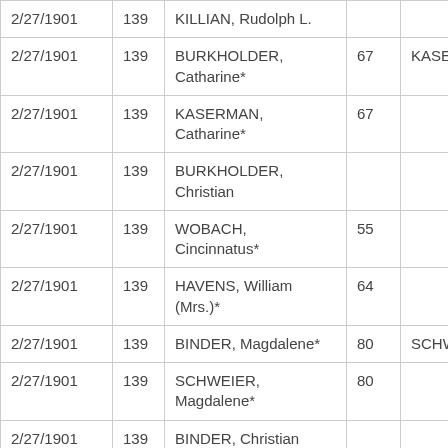| 2/27/1901 | 139 | KILLIAN, Rudolph L. |  |  |
| 2/27/1901 | 139 | BURKHOLDER, Catharine* | 67 | KASERN |
| 2/27/1901 | 139 | KASERMAN, Catharine* | 67 |  |
| 2/27/1901 | 139 | BURKHOLDER, Christian |  |  |
| 2/27/1901 | 139 | WOBACH, Cincinnatus* | 55 |  |
| 2/27/1901 | 139 | HAVENS, William (Mrs.)* | 64 |  |
| 2/27/1901 | 139 | BINDER, Magdalene* | 80 | SCHWE |
| 2/27/1901 | 139 | SCHWEIER, Magdalene* | 80 |  |
| 2/27/1901 | 139 | BINDER, Christian |  |  |
|  |  |  |  |  |